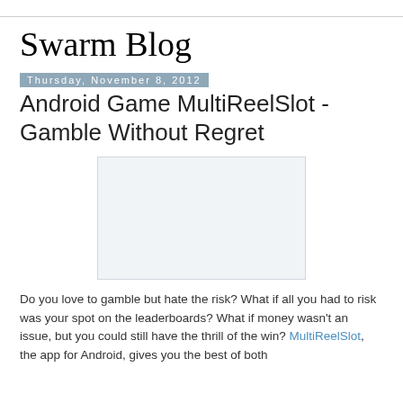Swarm Blog
Thursday, November 8, 2012
Android Game MultiReelSlot - Gamble Without Regret
[Figure (other): Blank image placeholder rectangle with light grey fill and border]
Do you love to gamble but hate the risk? What if all you had to risk was your spot on the leaderboards? What if money wasn't an issue, but you could still have the thrill of the win? MultiReelSlot, the app for Android, gives you the best of both